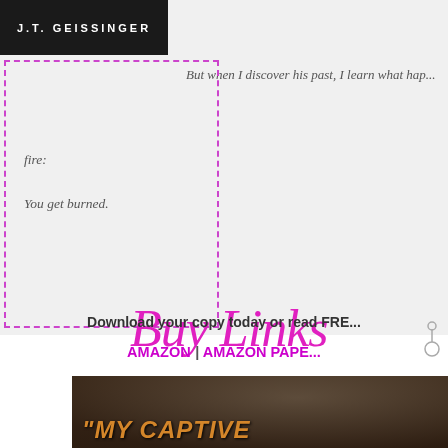[Figure (photo): Top portion of a book cover by J.T. Geissinger with dark/black background and author name in white uppercase letters]
But when I discover his past, I learn what hap...
fire:

You get burned.
[Figure (illustration): Decorative cursive/script text reading 'Buy Links' in magenta/pink with a decorative key charm]
Download your copy today or read FRE...
AMAZON | AMAZON PAPE...
[Figure (photo): Bottom portion showing a book cover with a person and orange text reading '"MY CAPTIVE']